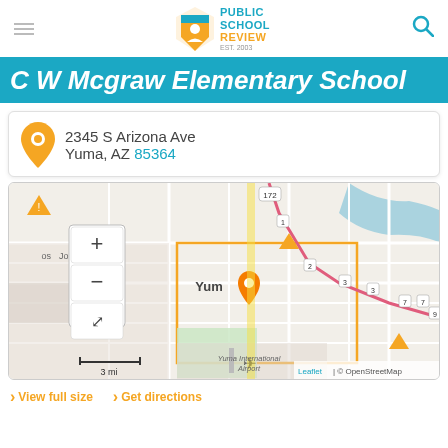Public School Review - EST. 2003
C W Mcgraw Elementary School
2345 S Arizona Ave
Yuma, AZ 85364
[Figure (map): Street map of Yuma, AZ showing location of C W Mcgraw Elementary School at 2345 S Arizona Ave, with zoom controls, scale bar (3 mi), and attribution: Leaflet | © OpenStreetMap. A location pin marker is shown over Yuma city center. Yuma International Airport is visible at the bottom.]
View full size   Get directions